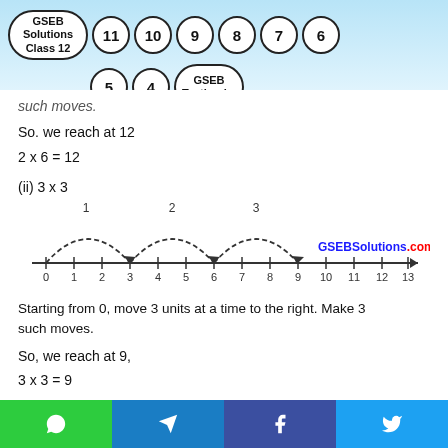GSEB Solutions Class 12 | 11 | 10 | 9 | 8 | 7 | 6 | 5 | 4 | GSEB Textbooks
such moves.
So. we reach at 12
(ii) 3 x 3
[Figure (other): Number line from 0 to 13 with three dashed arcs labeled 1, 2, 3 each spanning 3 units, showing jumps from 0 to 3, 3 to 6, and 6 to 9. GSEBSolutions.com watermark visible.]
Starting from 0, move 3 units at a time to the right. Make 3 such moves.
So, we reach at 9,
Share buttons: WhatsApp, Telegram, Facebook, Twitter